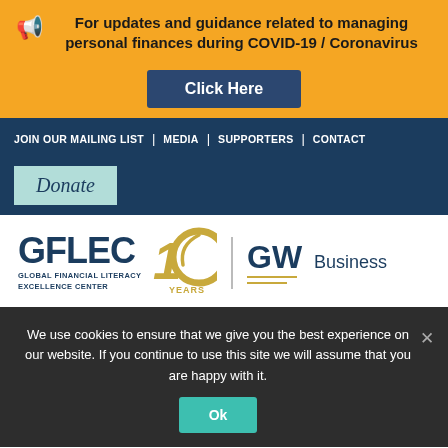For updates and guidance related to managing personal finances during COVID-19 / Coronavirus
Click Here
JOIN OUR MAILING LIST | MEDIA | SUPPORTERS | CONTACT
Donate
[Figure (logo): GFLEC Global Financial Literacy Excellence Center 10 Years logo with GW Business logo]
We use cookies to ensure that we give you the best experience on our website. If you continue to use this site we will assume that you are happy with it.
Ok